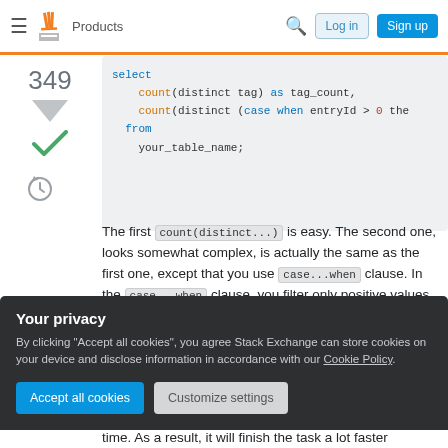Stack Overflow – Products | Log in | Sign up
349
[Figure (screenshot): SQL code block showing: select count(distinct tag) as tag_count, count(distinct (case when entryId > 0 the from your_table_name;]
The first count(distinct...) is easy. The second one, looks somewhat complex, is actually the same as the first one, except that you use case...when clause. In the case...when clause, you filter only positive values. Zeros or negative values would be
Your privacy
By clicking "Accept all cookies", you agree Stack Exchange can store cookies on your device and disclose information in accordance with our Cookie Policy.
Accept all cookies   Customize settings
time. As a result, it will finish the task a lot faster